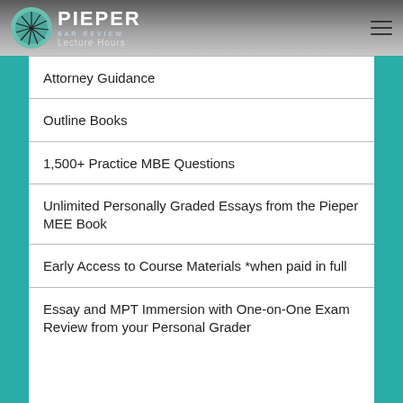Pieper Bar Review — Lecture Hours
Attorney Guidance
Outline Books
1,500+ Practice MBE Questions
Unlimited Personally Graded Essays from the Pieper MEE Book
Early Access to Course Materials *when paid in full
Essay and MPT Immersion with One-on-One Exam Review from your Personal Grader